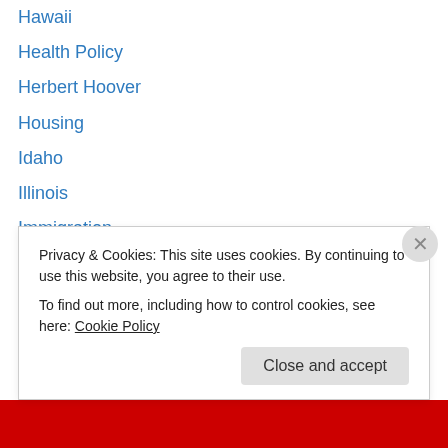Hawaii
Health Policy
Herbert Hoover
Housing
Idaho
Illinois
Immigration
Indiana
Iowa
Iran
Iraq
Isolationism
James K. Polk
James Madi…
Privacy & Cookies: This site uses cookies. By continuing to use this website, you agree to their use.
To find out more, including how to control cookies, see here: Cookie Policy
Close and accept